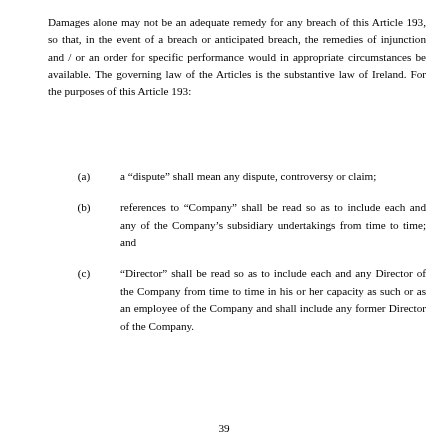Damages alone may not be an adequate remedy for any breach of this Article 193, so that, in the event of a breach or anticipated breach, the remedies of injunction and / or an order for specific performance would in appropriate circumstances be available. The governing law of the Articles is the substantive law of Ireland. For the purposes of this Article 193:
(a)   a “dispute” shall mean any dispute, controversy or claim;
(b)   references to “Company” shall be read so as to include each and any of the Company’s subsidiary undertakings from time to time; and
(c)   “Director” shall be read so as to include each and any Director of the Company from time to time in his or her capacity as such or as an employee of the Company and shall include any former Director of the Company.
39